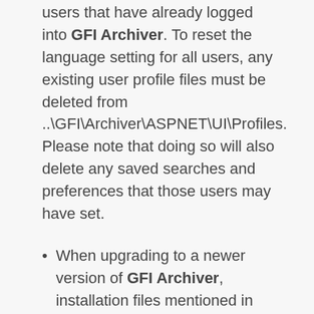users that have already logged into GFI Archiver. To reset the language setting for all users, any existing user profile files must be deleted from ..\GFI\Archiver\ASPNET\UI\Profiles. Please note that doing so will also delete any saved searches and preferences that those users may have set.
When upgrading to a newer version of GFI Archiver, installation files mentioned in this procedure will be overwritten with default versions making the changes